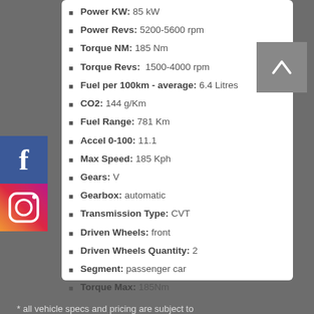Power KW: 85 kW
Power Revs: 5200-5600 rpm
Torque NM: 185 Nm
Torque Revs:  1500-4000 rpm
Fuel per 100km - average: 6.4 Litres
CO2: 144 g/Km
Fuel Range: 781 Km
Accel 0-100: 11.1
Max Speed: 185 Kph
Gears: V
Gearbox: automatic
Transmission Type: CVT
Driven Wheels: front
Driven Wheels Quantity: 2
Segment: passenger car
Torque Max: 185Nm
Body Type: cross-over
* all vehicle specs and pricing are subject to